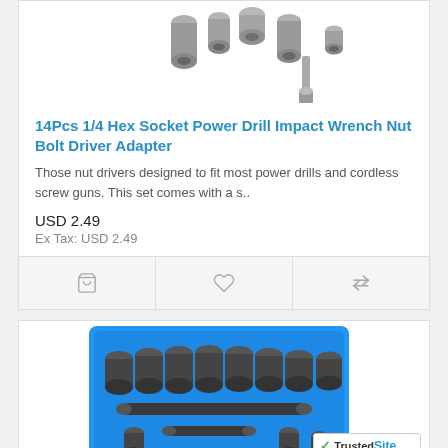[Figure (photo): Product photo of socket/nut driver set pieces scattered, metallic gray, on white background (top portion)]
14Pcs 1/4 Hex Socket Power Drill Impact Wrench Nut Bolt Driver Adapter
Those nut drivers designed to fit most power drills and cordless screw guns. This set comes with a s..
USD 2.49
Ex Tax: USD 2.49
[Figure (illustration): Cart icon, heart icon, and compare arrows icon in action bar]
[Figure (photo): Product photo of a blue plastic case containing multiple dark socket/bit set pieces arranged in rows]
[Figure (logo): TrustedSite Certified Secure badge in bottom right corner]